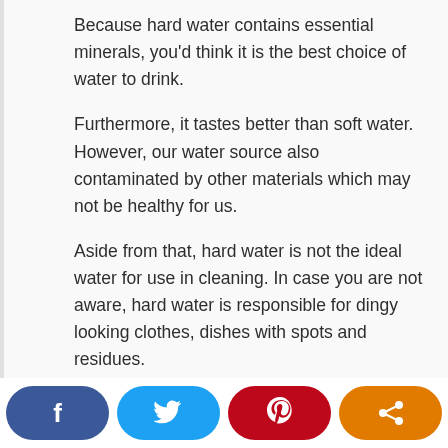Because hard water contains essential minerals, you'd think it is the best choice of water to drink.
Furthermore, it tastes better than soft water. However, our water source also contaminated by other materials which may not be healthy for us.
Aside from that, hard water is not the ideal water for use in cleaning. In case you are not aware, hard water is responsible for dingy looking clothes, dishes with spots and residues.
That is why we soften the water we